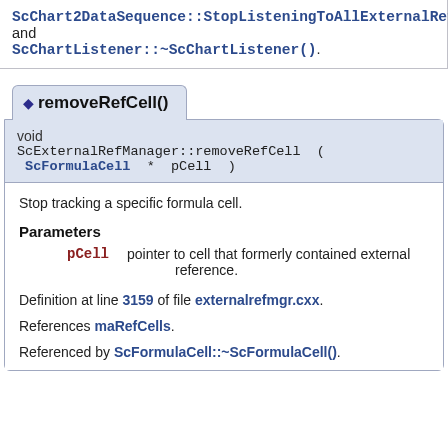ScChart2DataSequence::StopListeningToAllExternalRefs(), and ScChartListener::~ScChartListener().
◆ removeRefCell()
void ScExternalRefManager::removeRefCell ( ScFormulaCell * pCell )
Stop tracking a specific formula cell.
Parameters
pCell pointer to cell that formerly contained external reference.
Definition at line 3159 of file externalrefmgr.cxx.
References maRefCells.
Referenced by ScFormulaCell::~ScFormulaCell().